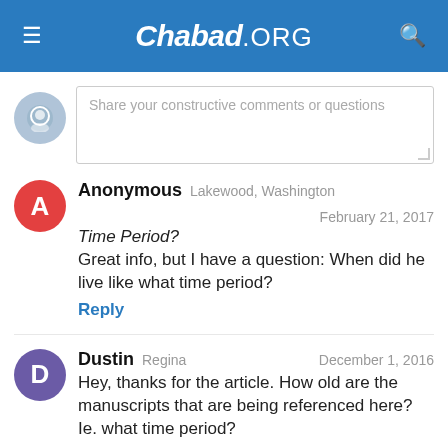Chabad.ORG
Share your constructive comments or questions
Anonymous Lakewood, Washington February 21, 2017
Time Period?
Great info, but I have a question: When did he live like what time period?
Reply
Dustin Regina December 1, 2016
Hey, thanks for the article. How old are the manuscripts that are being referenced here? Ie. what time period?
Reply